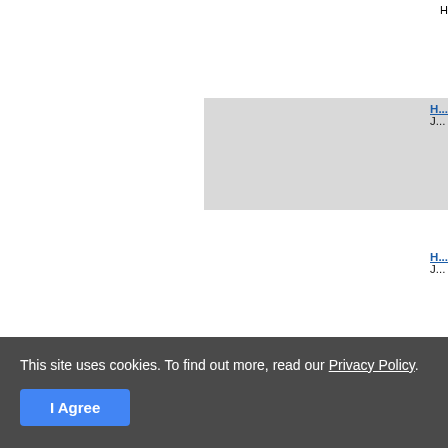H...
[Figure (screenshot): Partial webpage screenshot showing a list of items with gray card thumbnails on the left and link titles with subtitles on the right, partially cropped. Items visible include rows with gray rectangular image placeholders and blue hyperlink text labels starting with 'H' alongside single-letter subtext (J, J, B, C, E). A cookie consent banner appears at the bottom reading 'This site uses cookies. To find out more, read our Privacy Policy.' with an 'I Agree' button.]
This site uses cookies. To find out more, read our Privacy Policy.
I Agree